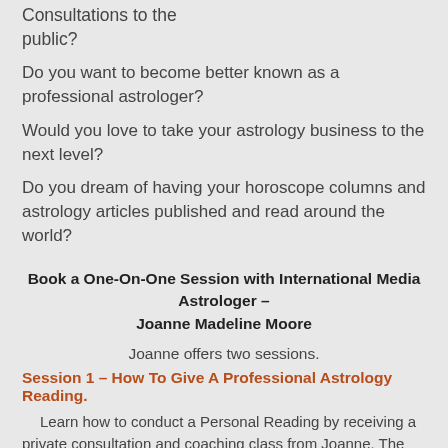Consultations to the public?
Do you want to become better known as a professional astrologer?
Would you love to take your astrology business to the next level?
Do you dream of having your horoscope columns and astrology articles published and read around the world?
Book a One-On-One Session with International Media Astrologer – Joanne Madeline Moore
Joanne offers two sessions.
Session 1 – How To Give A Professional Astrology Reading.
Learn how to conduct a Personal Reading by receiving a private consultation and coaching class from Joanne. The one hour session covers your natal chart (relationships, romance, family, career, goals,